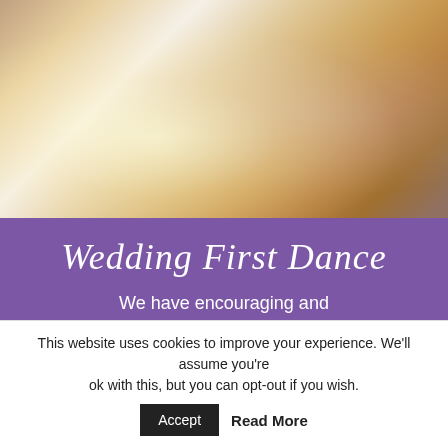[Figure (photo): Wedding couple dancing their first dance on a dance floor with sparklers, bride in white gown, other guests visible in background]
Wedding First Dance
We have encouraging and professional dance teachers local to you ready to help you create something special for your magical day. You'll be amazed at the
This website uses cookies to improve your experience. We'll assume you're ok with this, but you can opt-out if you wish. Accept Read More